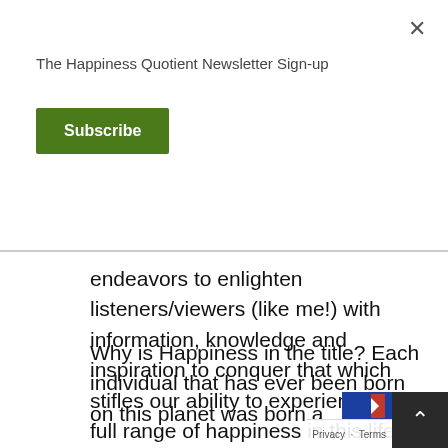The Happiness Quotient Newsletter Sign-up
Subscribe
endeavors to enlighten listeners/viewers (like me!) with information, knowledge and inspiration to conquer that which stifles our ability to experience the full range of happiness in this life.
Why is Happiness in the title? Each individual that has ever been born on this planet was born a